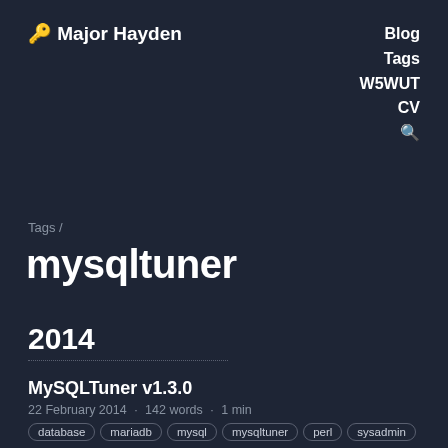🔑 Major Hayden
Blog
Tags
W5WUT
CV
🔍
Tags /
mysqltuner
2014
MySQLTuner v1.3.0
22 February 2014 · 142 words · 1 min
database mariadb mysql mysqltuner perl sysadmin
It's been three long years since the last